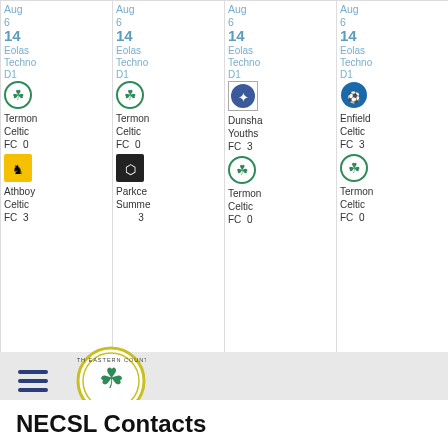| Aug 6 | Aug 6 | Aug 6 | Aug 6 | Aug 6 | Sep 11 | Sep 24 | Sep 24 |
| --- | --- | --- | --- | --- | --- | --- | --- |
| 14 Eolas Techno D1 | 14 Eolas Techno D1 | 14 Eolas Techno D1 | 14 Eolas Techno D1 | 14 Eolas Techno D1 | 12 Elrich Paulo Caputo Cup | 12s McGuire Brenna Cup | 13 Ge Bro Cup |
| Termon Celtic FC 0 | Termon Celtic FC 0 | Dunsha Youths FC 3 | Enfield Celtic FC 3 | Virginia FC 3 | NECSL | NECSL | NE |
| Athboy Celtic FC 3 | Parkce Summ 3 | Termon Celtic FC 0 | Termon Celtic FC 0 | Termon Celtic FC 0 | NECSL | NECSL | NE |
[Figure (logo): North Eastern Counties Schoolgirls League circular logo with shamrock]
NECSL Contacts